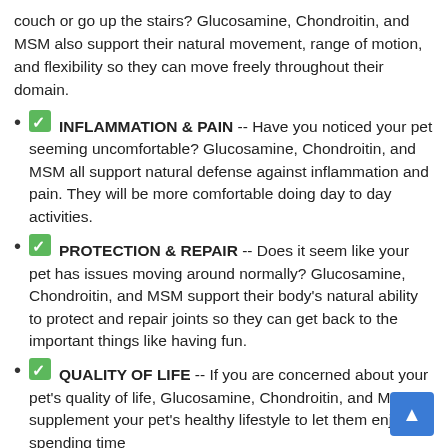couch or go up the stairs? Glucosamine, Chondroitin, and MSM also support their natural movement, range of motion, and flexibility so they can move freely throughout their domain.
✅ INFLAMMATION & PAIN -- Have you noticed your pet seeming uncomfortable? Glucosamine, Chondroitin, and MSM all support natural defense against inflammation and pain. They will be more comfortable doing day to day activities.
✅ PROTECTION & REPAIR -- Does it seem like your pet has issues moving around normally? Glucosamine, Chondroitin, and MSM support their body's natural ability to protect and repair joints so they can get back to the important things like having fun.
✅ QUALITY OF LIFE -- If you are concerned about your pet's quality of life, Glucosamine, Chondroitin, and MSM supplement your pet's healthy lifestyle to let them enjoy spending time